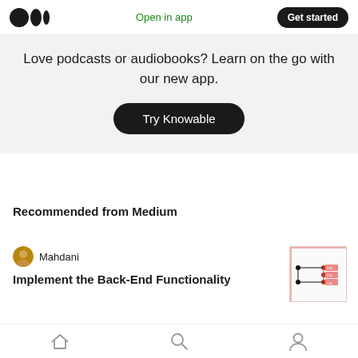Medium logo | Open in app | Get started
Love podcasts or audiobooks? Learn on the go with our new app.
Try Knowable
Recommended from Medium
Mahdani
Implement the Back-End Functionality
Home | Search | Profile